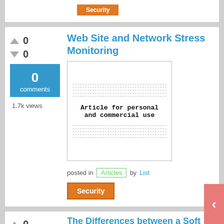[Figure (screenshot): Partial top card with orange button visible]
Web Site and Network Stress Monitoring
[Figure (illustration): Article thumbnail image showing dashed lines and text 'Article for personal and commercial use']
0 comments
1.7k views
posted in Articles by List
Security
The Differences between a Soft Hard and Transmit Phone